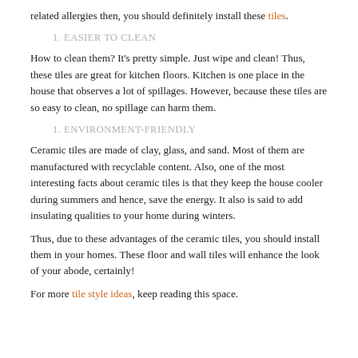related allergies then, you should definitely install these tiles.
1. EASIER TO CLEAN
How to clean them? It's pretty simple. Just wipe and clean! Thus, these tiles are great for kitchen floors. Kitchen is one place in the house that observes a lot of spillages. However, because these tiles are so easy to clean, no spillage can harm them.
1. ENVIRONMENT-FRIENDLY
Ceramic tiles are made of clay, glass, and sand. Most of them are manufactured with recyclable content. Also, one of the most interesting facts about ceramic tiles is that they keep the house cooler during summers and hence, save the energy. It also is said to add insulating qualities to your home during winters.
Thus, due to these advantages of the ceramic tiles, you should install them in your homes. These floor and wall tiles will enhance the look of your abode, certainly!
For more tile style ideas, keep reading this space.